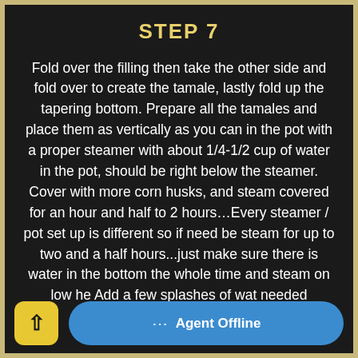STEP 7
Fold over the filling then take the other side and fold over to create the tamale, lastly fold up the tapering bottom. Prepare all the tamales and place them as vertically as you can in the pot with a proper steamer with about 1/4-1/2 cup of water in the pot, should be right below the steamer. Cover with more corn husks, and steam covered for an hour and half to 2 hours…Every steamer / pot set up is different so if need be steam for up to two and a half hours...just make sure there is water in the bottom the whole time and steam on low he Add a few splashes of wat needed throughout the cooking process.